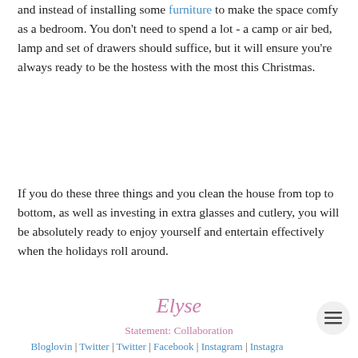and instead of installing some furniture to make the space comfy as a bedroom. You don't need to spend a lot - a camp or air bed, lamp and set of drawers should suffice, but it will ensure you're always ready to be the hostess with the most this Christmas.
If you do these three things and you clean the house from top to bottom, as well as investing in extra glasses and cutlery, you will be absolutely ready to enjoy yourself and entertain effectively when the holidays roll around.
Elyse
Statement: Collaboration
Bloglovin | Twitter | Twitter | Facebook | Instagram | Instagram | Pinterest
Share: